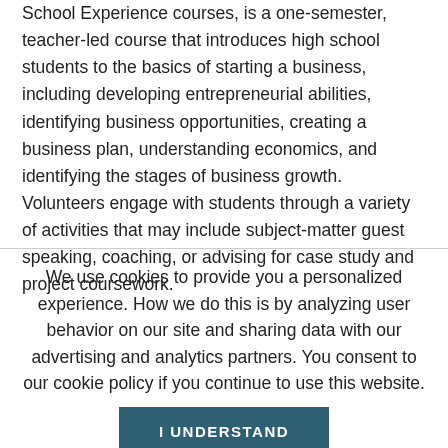School Experience courses, is a one-semester, teacher-led course that introduces high school students to the basics of starting a business, including developing entrepreneurial abilities, identifying business opportunities, creating a business plan, understanding economics, and identifying the stages of business growth. Volunteers engage with students through a variety of activities that may include subject-matter guest speaking, coaching, or advising for case study and project coursework.
We use cookies to provide you a personalized experience. How we do this is by analyzing user behavior on our site and sharing data with our advertising and analytics partners. You consent to our cookie policy if you continue to use this website.
I UNDERSTAND